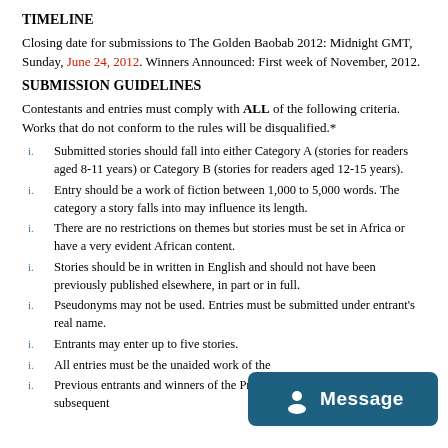TIMELINE
Closing date for submissions to The Golden Baobab 2012: Midnight GMT, Sunday, June 24, 2012. Winners Announced: First week of November, 2012.
SUBMISSION GUIDELINES
Contestants and entries must comply with ALL of the following criteria. Works that do not conform to the rules will be disqualified.*
Submitted stories should fall into either Category A (stories for readers aged 8-11 years) or Category B (stories for readers aged 12-15 years).
Entry should be a work of fiction between 1,000 to 5,000 words. The category a story falls into may influence its length.
There are no restrictions on themes but stories must be set in Africa or have a very evident African content.
Stories should be in written in English and should not have been previously published elsewhere, in part or in full.
Pseudonyms may not be used. Entries must be submitted under entrant's real name.
Entrants may enter up to five stories.
All entries must be the unaided work of the
Previous entrants and winners of the Prize are eligible to enter in subsequent